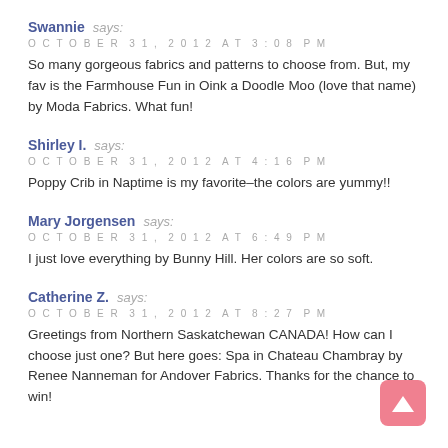Swannie says:
OCTOBER 31, 2012 AT 3:08 PM
So many gorgeous fabrics and patterns to choose from. But, my fav is the Farmhouse Fun in Oink a Doodle Moo (love that name) by Moda Fabrics. What fun!
Shirley I. says:
OCTOBER 31, 2012 AT 4:16 PM
Poppy Crib in Naptime is my favorite–the colors are yummy!!
Mary Jorgensen says:
OCTOBER 31, 2012 AT 6:49 PM
I just love everything by Bunny Hill. Her colors are so soft.
Catherine Z. says:
OCTOBER 31, 2012 AT 8:27 PM
Greetings from Northern Saskatchewan CANADA! How can I choose just one? But here goes: Spa in Chateau Chambray by Renee Nanneman for Andover Fabrics. Thanks for the chance to win!